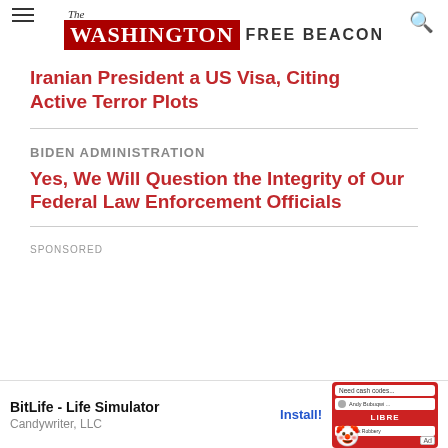The Washington Free Beacon
Iranian President a US Visa, Citing Active Terror Plots
BIDEN ADMINISTRATION
Yes, We Will Question the Integrity of Our Federal Law Enforcement Officials
SPONSORED
[Figure (screenshot): BitLife - Life Simulator app advertisement by Candywriter, LLC with an Install button and a game screenshot showing a robber emoji and bank robbery scenario with 'Need cash codes...' text]